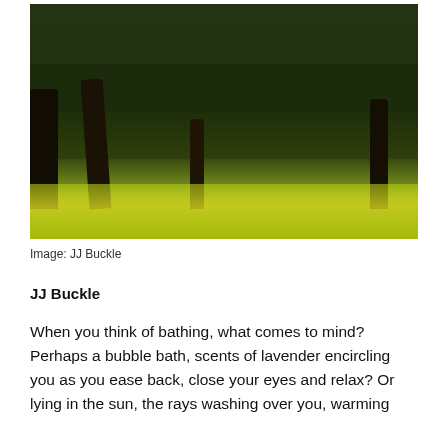[Figure (photo): A forest orchard scene with large gnarled trees and yellow wildflowers covering the ground, sunlight filtering through the canopy.]
Image: JJ Buckle
JJ Buckle
When you think of bathing, what comes to mind? Perhaps a bubble bath, scents of lavender encircling you as you ease back, close your eyes and relax? Or lying in the sun, the rays washing over you, warming